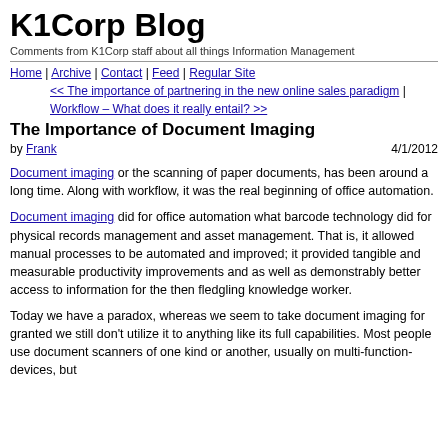K1Corp Blog
Comments from K1Corp staff about all things Information Management
Home | Archive | Contact | Feed | Regular Site
<< The importance of partnering in the new online sales paradigm |
Workflow – What does it really entail? >>
The Importance of Document Imaging
by Frank   4/1/2012
Document imaging or the scanning of paper documents, has been around a long time. Along with workflow, it was the real beginning of office automation.
Document imaging did for office automation what barcode technology did for physical records management and asset management. That is, it allowed manual processes to be automated and improved; it provided tangible and measurable productivity improvements and as well as demonstrably better access to information for the then fledgling knowledge worker.
Today we have a paradox, whereas we seem to take document imaging for granted we still don't utilize it to anything like its full capabilities. Most people use document scanners of one kind or another, usually on multi-function-devices, but